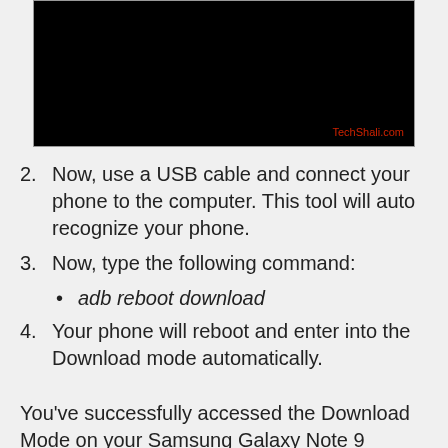[Figure (screenshot): Black screenshot with TechShali.com watermark in red at bottom right]
2. Now, use a USB cable and connect your phone to the computer. This tool will auto recognize your phone.
3. Now, type the following command:
adb reboot download
4. Your phone will reboot and enter into the Download mode automatically.
You've successfully accessed the Download Mode on your Samsung Galaxy Note 9